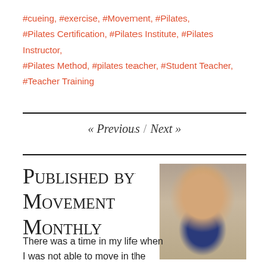#cueing, #exercise, #Movement, #Pilates, #Pilates Certification, #Pilates Institute, #Pilates Instructor, #Pilates Method, #pilates teacher, #Student Teacher, #Teacher Training
« Previous / Next »
Published by Movement Monthly
[Figure (photo): Headshot of a woman with blonde shoulder-length hair, smiling, wearing a navy blue top, against a light background.]
There was a time in my life when I was not able to move in the